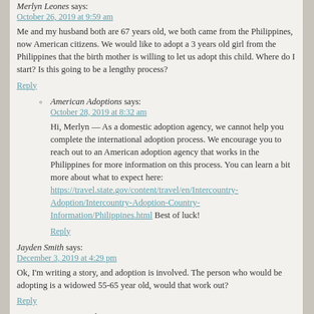Merlyn Leones says:
October 26, 2019 at 9:59 am
Me and my husband both are 67 years old, we both came from the Philippines, now American citizens. We would like to adopt a 3 years old girl from the Philippines that the birth mother is willing to let us adopt this child. Where do I start? Is this going to be a lengthy process?
Reply
American Adoptions says:
October 28, 2019 at 8:32 am
Hi, Merlyn — As a domestic adoption agency, we cannot help you complete the international adoption process. We encourage you to reach out to an American adoption agency that works in the Philippines for more information on this process. You can learn a bit more about what to expect here: https://travel.state.gov/content/travel/en/Intercountry-Adoption/Intercountry-Adoption-Country-Information/Philippines.html Best of luck!
Reply
Jayden Smith says:
December 3, 2019 at 4:29 pm
Ok, I'm writing a story, and adoption is involved. The person who would be adopting is a widowed 55-65 year old, would that work out?
Reply
American Adoptions says:
December 4, 2019 at 8:01 am
Hi, Jayden — While it's unlikely that someone that age would adopt an infant through an agency like ours, they could always choose to adopt an older child through foster care or in a kinship adoption situation. Best of luck with your story!
Reply